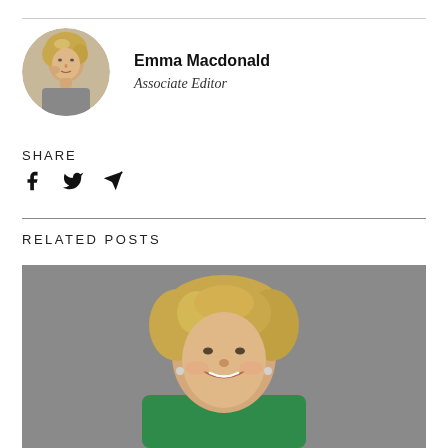[Figure (photo): Circular portrait photo of Emma Macdonald, a blonde woman with short hair posing with hand near face]
Emma Macdonald
Associate Editor
SHARE
[Figure (infographic): Social share icons: Facebook f, Twitter bird, and email/send arrow icons]
RELATED POSTS
[Figure (photo): Portrait photo of a smiling middle-aged blonde woman with curly hair wearing a green top, photographed against a grey background]